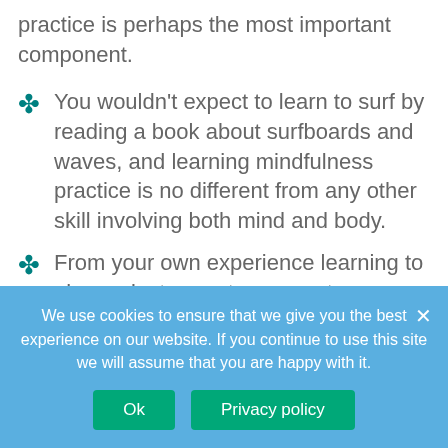practice is perhaps the most important component.
You wouldn't expect to learn to surf by reading a book about surfboards and waves, and learning mindfulness practice is no different from any other skill involving both mind and body.
From your own experience learning to play an instrument or a sport, you know that practice is important.
Your body/mind is the most complex instrument in the universe. It takes time and
We use cookies to ensure that we give you the best experience on our website. If you continue to use this site we will assume that you are happy with it.
Ok
Privacy policy